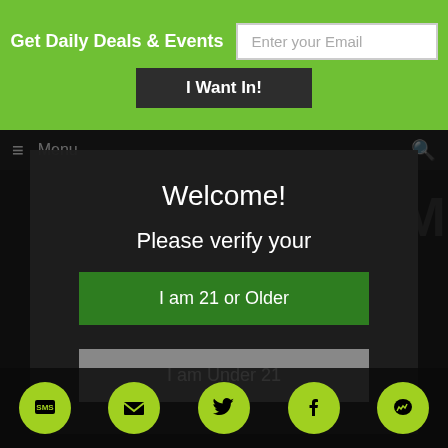Get Daily Deals & Events
Enter your Email
I Want In!
[Figure (screenshot): Website modal popup for age verification on 420DC.com with green header bar, dark background, and bottom social media icons]
Welcome!
Please verify your
I am 21 or Older
I am Under 21